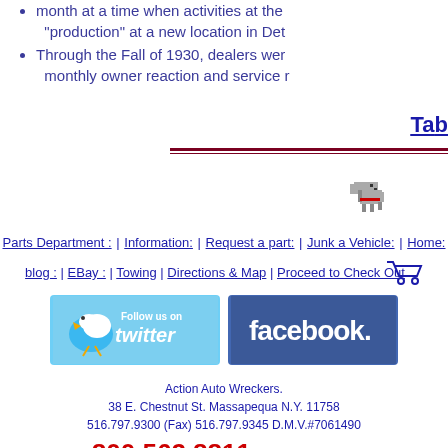month at a time when activities at the "production" at a new location in Det
Through the Fall of 1930, dealers were monthly owner reaction and service r
Tab
[Figure (illustration): Pixel art dog icon with red collar]
Parts Department : | Information: | Request a part: | Junk a Vehicle: | Home:
blog : | EBay : | Towing | Directions & Map | Proceed to Check Out
[Figure (logo): Follow us on Twitter button]
[Figure (logo): Facebook logo button]
Action Auto Wreckers.
38 E. Chestnut St. Massapequa N.Y. 11758
516.797.9300 (Fax) 516.797.9345 D.M.V.#7061490
800.562.8811 Promo Code: N/A
Copyright © 1997 - 2011 Action Auto Wreckers
Privacy Statement